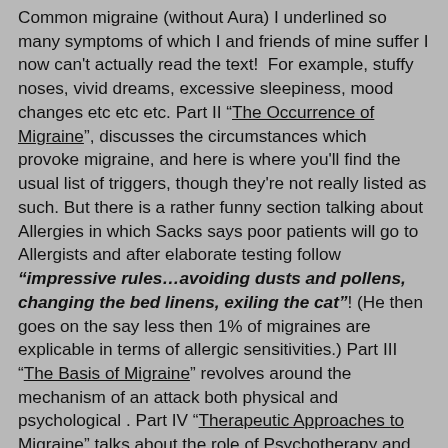Common migraine (without Aura) I underlined so many symptoms of which I and friends of mine suffer I now can't actually read the text!  For example, stuffy noses, vivid dreams, excessive sleepiness, mood changes etc etc etc. Part II “The Occurrence of Migraine”, discusses the circumstances which provoke migraine, and here is where you'll find the usual list of triggers, though they're not really listed as such. But there is a rather funny section talking about Allergies in which Sacks says poor patients will go to Allergists and after elaborate testing follow “impressive rules…avoiding dusts and pollens, changing the bed linens, exiling the cat”! (He then goes on the say less then 1% of migraines are explicable in terms of allergic sensitivities.) Part III “The Basis of Migraine” revolves around the mechanism of an attack both physical and psychological . Part IV “Therapeutic Approaches to Migraine” talks about the role of Psychotherapy and the role of medication and “recent advances in treatment’ – though be aware this was written in 1992 so now feels rather out-dated. But if you’re a migraine geek like me it’s quite interesting to see what was ‘in trend’ at the time. Part V “Migraine as Universal” looking at ‘Migraine Aura and Hallucinatory Constant’ and the book